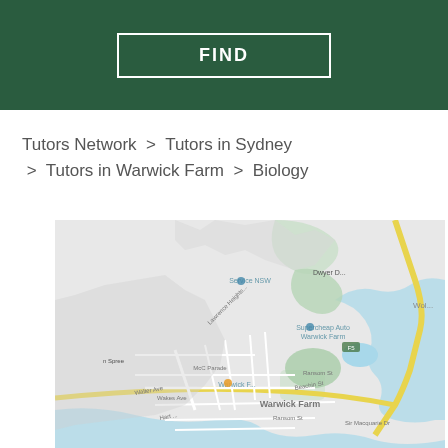FIND
Tutors Network > Tutors in Sydney > Tutors in Warwick Farm > Biology
[Figure (map): Google Maps view of Warwick Farm, Sydney, showing local streets, landmarks including Service NSW, Supercheap Auto Warwick Farm, and surrounding areas with water features.]